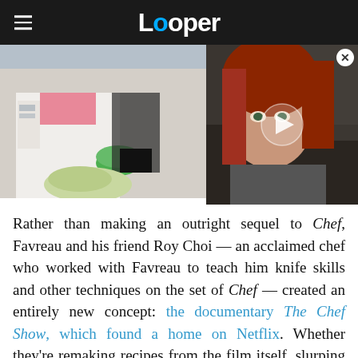Looper
[Figure (photo): Two-panel image: left shows a chef in white uniform with tattoos working with food including a green bowl; right shows a woman with red hair from a fantasy film with a video play button overlay.]
Rather than making an outright sequel to Chef, Favreau and his friend Roy Choi — an acclaimed chef who worked with Favreau to teach him knife skills and other techniques on the set of Chef — created an entirely new concept: the documentary The Chef Show, which found a home on Netflix. Whether they're remaking recipes from the film itself, slurping oysters with the Avengers in Atlanta,